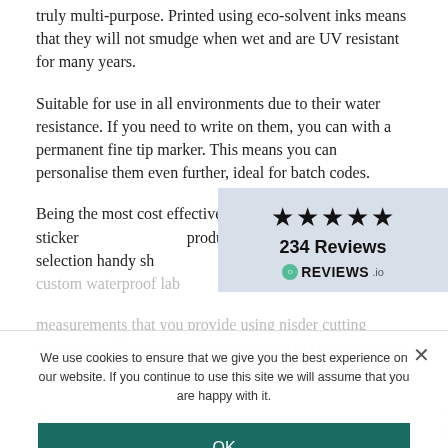truly multi-purpose. Printed using eco-solvent inks means that they will not smudge when wet and are UV resistant for many years.
Suitable for use in all environments due to their water resistance. If you need to write on them, you can with a permanent fine tip marker. This means you can personalise them even further, ideal for batch codes.
[Figure (infographic): Reviews widget showing 5 stars, 234 Reviews, REVIEWS.io branding on a blue-grey background]
Being the most cost effective waterproof sticker produce, they come in a wide selection handy sh sizes. We produce your custom waterproof lab
measurements that you provide using nisder cutting technology. That gives you the freedom to choose any size you desire.
A (truncated text) w (truncated) l
material is in stock and your sticky labels will be produced
We use cookies to ensure that we give you the best experience on our website. If you continue to use this site we will assume that you are happy with it.
OK